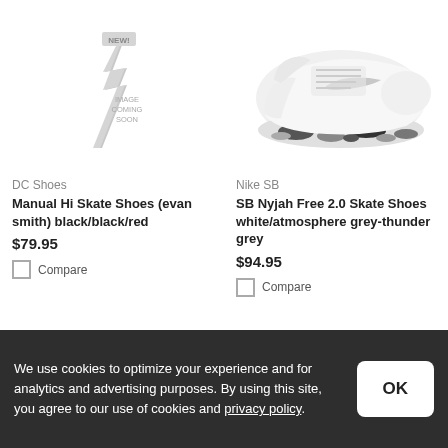[Figure (photo): DC Shoes placeholder image with 'NEW!' badge and 'IMAGE COMING SOON' text with a lightning bolt graphic]
DC Shoes
Manual Hi Skate Shoes (evan smith) black/black/red
$79.95
Compare
[Figure (photo): Nike SB Nyjah Free 2.0 Skate Shoes in white/atmosphere grey-thunder grey colorway, shown from the side, with camo-patterned sole]
Nike SB
SB Nyjah Free 2.0 Skate Shoes white/atmosphere grey-thunder grey
$94.95
Compare
We use cookies to optimize your experience and for analytics and advertising purposes. By using this site, you agree to our use of cookies and privacy policy.